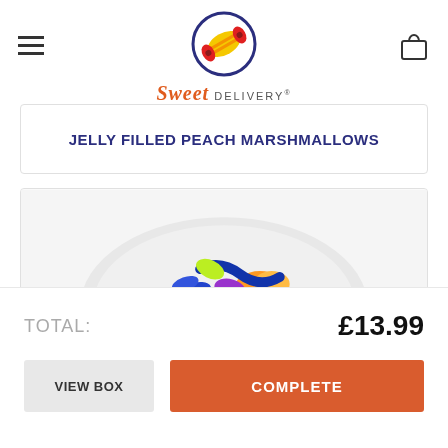[Figure (logo): Sweet Delivery logo: circular icon with a candy wrapped in orange and yellow stripes, with red ends, on a dark blue circular outline, above the text 'Sweet DELIVERY']
JELLY FILLED PEACH MARSHMALLOWS
[Figure (photo): A white plate filled with colorful gummy candies and jelly sweets in various shapes including fish, peaches, and other shapes in red, orange, yellow, green, and blue colors]
TOTAL:
£13.99
VIEW BOX
COMPLETE